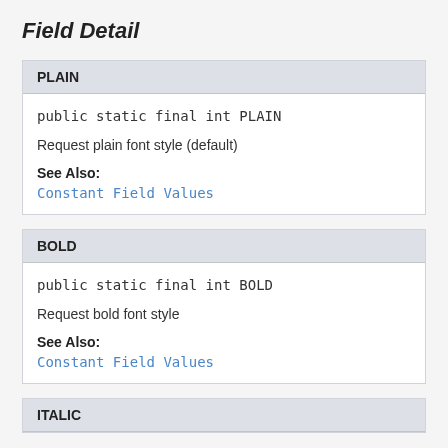Field Detail
PLAIN
public static final int PLAIN
Request plain font style (default)
See Also:
Constant Field Values
BOLD
public static final int BOLD
Request bold font style
See Also:
Constant Field Values
ITALIC